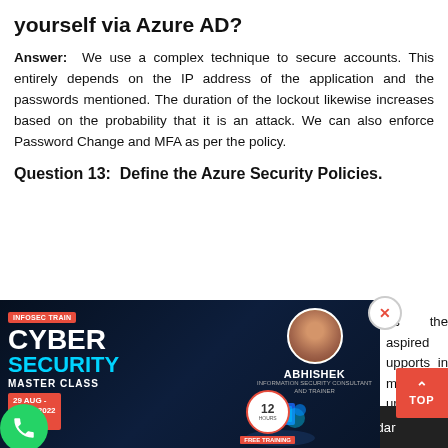yourself via Azure AD?
Answer: We use a complex technique to secure accounts. This entirely depends on the IP address of the application and the passwords mentioned. The duration of the lockout likewise increases based on the probability that it is an attack. We can also enforce Password Change and MFA as per the policy.
Question 13:  Define the Azure Security Policies.
[Figure (photo): Cyber Security Master Class advertisement banner featuring ABHISHEK, Information Security Consultant and Trainer. Shows date 29 AUG - 3 SEP 2022, 12 Hours Free Training, Infosec Train branding.]
es the aspired upports in making urity obligations of curity suggestions ity Center policies
Drop us a Query  |  Join Webinars  |  Training Calendar